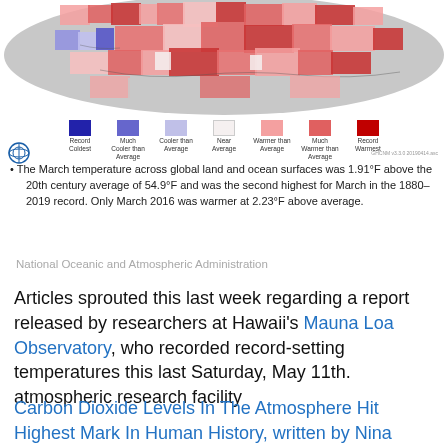[Figure (map): Global temperature anomaly map showing land and ocean surface temperatures for March, with color scale from deep blue (Record Coldest) to deep red (Record Warmest). Most regions show red/pink indicating warmer than average conditions.]
Legend: Record Coldest, Much Cooler than Average, Cooler than Average, Near Average, Warmer than Average, Much Warmer than Average, Record Warmest. NOAA logo. GHCNM v3.3.0 20190414.asc
The March temperature across global land and ocean surfaces was 1.91°F above the 20th century average of 54.9°F and was the second highest for March in the 1880–2019 record. Only March 2016 was warmer at 2.23°F above average.
National Oceanic and Atmospheric Administration
Articles sprouted this last week regarding a report released by researchers at Hawaii's Mauna Loa Observatory, who recorded record-setting temperatures this last Saturday, May 11th.
atmospheric research facility
Carbon Dioxide Levels In The Atmosphere Hit Highest Mark In Human History, written by Nina Golgowski